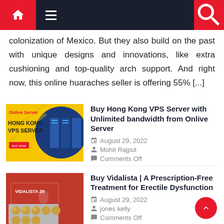Navigation bar with home, menu, and search icons
colonization of Mexico. But they also build on the past with unique designs and innovations, like extra cushioning and top-quality arch support. And right now, this online huaraches seller is offering 55% [...]
[Figure (photo): Hong Kong VPS Server promotional image with yellow background, blue server rack, and Onlive Server branding]
Buy Hong Kong VPS Server with Unlimited bandwidth from Onlive Server
August 29, 2022
Mohit Rajput
Comments Off
[Figure (photo): Vidalista 20 medication blister pack on red packaging background]
Buy Vidalista | A Prescription-Free Treatment for Erectile Dysfunction
August 29, 2022
jones kelly
Comments Off